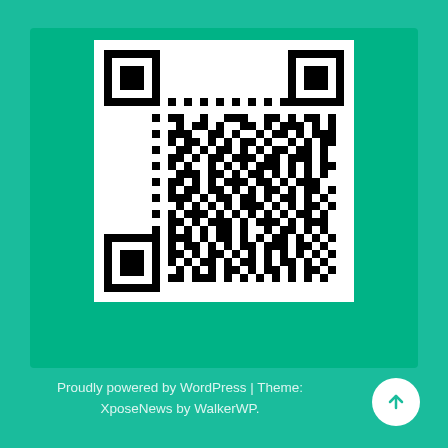[Figure (other): QR code displayed on a teal/green background card]
Proudly powered by WordPress | Theme: XposeNews by WalkerWP.